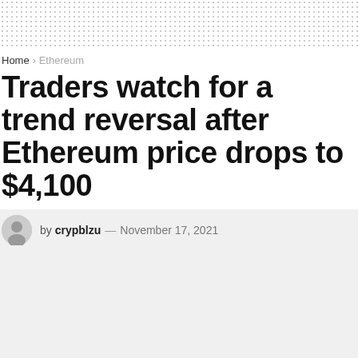Home > Ethereum
Traders watch for a trend reversal after Ethereum price drops to $4,100
by crypblzu — November 17, 2021